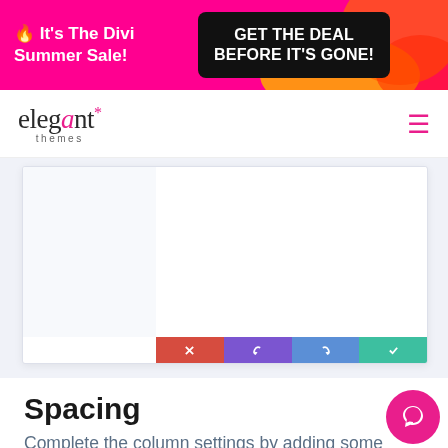🔥 It's The Divi Summer Sale! GET THE DEAL BEFORE IT'S GONE!
[Figure (logo): Elegant Themes logo with asterisk star in pink]
[Figure (screenshot): Divi builder screenshot showing two-column layout with action bar buttons (delete, undo, redo, save) in red, purple, blue, teal]
Spacing
Complete the column settings by adding some custom padding values across